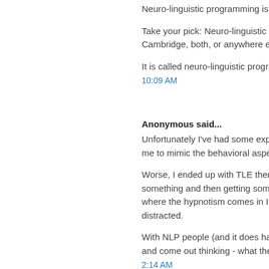Neuro-linguistic programming is turning out to be a great example.
Take your pick: Neuro-linguistic programming is pseudo-science a... Cambridge, both, or anywhere else who wants to fully inform their...
It is called neuro-linguistic programming after all, duh!
10:09 AM
Anonymous said...
Unfortunately I've had some experience with it. Some cyberharass... me to mimic the behavioral aspects of TLE. Creepy.
Worse, I ended up with TLE therapists. There's nothing worse than... something and then getting some bizarre off the wall comment to t... where the hypnotism comes in I guess. Maybe it works for people... distracted.
With NLP people (and it does have a cult aspect), you try to have a... and come out thinking - what the heck was that about? Two thumb...
2:14 AM
Joseph said...
Ok, I must say I have met several NLP experts who took away imp...